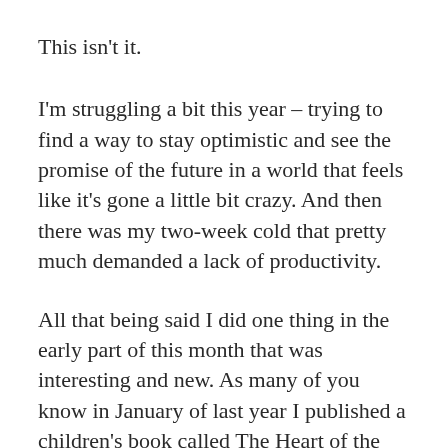This isn’t it.
I’m struggling a bit this year – trying to find a way to stay optimistic and see the promise of the future in a world that feels like it’s gone a little bit crazy. And then there was my two-week cold that pretty much demanded a lack of productivity.
All that being said I did one thing in the early part of this month that was interesting and new. As many of you know in January of last year I published a children’s book called The Heart of the River. When I did that I also joined